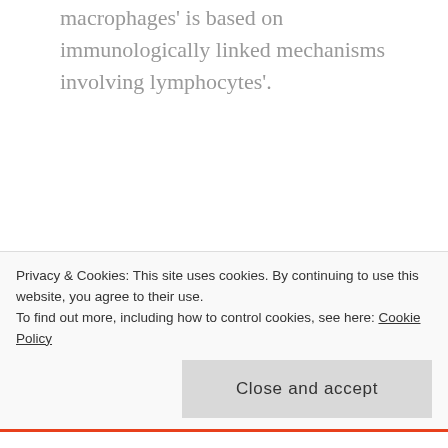macrophages' is based on immunologically linked mechanisms involving lymphocytes'.
GcMAF stand for Gc Macrophage Activating Factor, and it does just that, but a lot more. But the integrity of the research on GcMAF, conducted by Nobuto Yamamoto and colleagues which originally prompted claims regarding cancer and HIV has been questioned and it comes as no
Privacy & Cookies: This site uses cookies. By continuing to use this website, you agree to their use. To find out more, including how to control cookies, see here: Cookie Policy
Close and accept